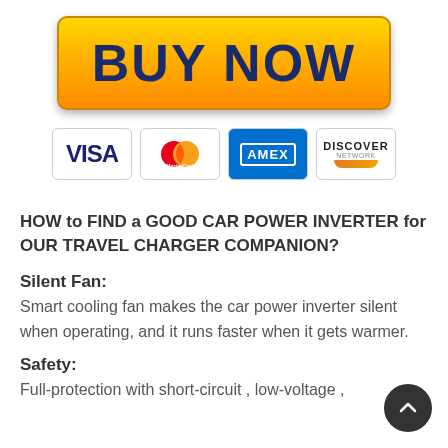[Figure (other): Buy Now button with gold/orange gradient background and dark blue bold text]
[Figure (other): Payment card logos: VISA, MasterCard, AMEX, DISCOVER]
HOW to FIND a GOOD CAR POWER INVERTER for OUR TRAVEL CHARGER COMPANION?
Silent Fan: Smart cooling fan makes the car power inverter silent when operating, and it runs faster when it gets warmer.
Safety: Full-protection with short-circuit , low-voltage ,